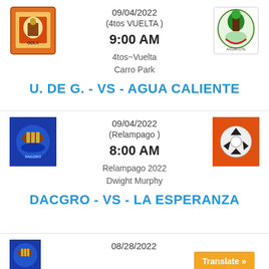09/04/2022
(4tos VUELTA )
9:00 AM
4tos~Vuelta
Carro Park
U. DE G. - VS - AGUA CALIENTE
09/04/2022
(Relampago )
8:00 AM
Relampago 2022
Dwight Murphy
DACGRO - VS - LA ESPERANZA
08/28/2022
Translate »